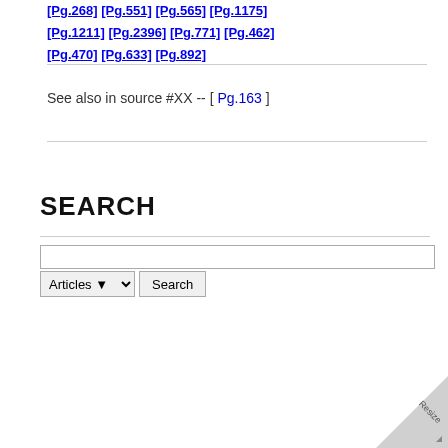[Pg.268]    [Pg.551]    [Pg.565]    [Pg.1175]    [Pg.1211]    [Pg.2396]    [Pg.771]    [Pg.462]    [Pg.470]    [Pg.633]    [Pg.892]
See also in source #XX -- [ Pg.163 ]
SEARCH
Articles  Search